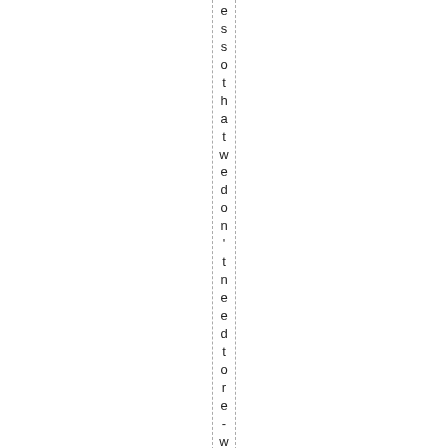es so that we don't need to re-writeS